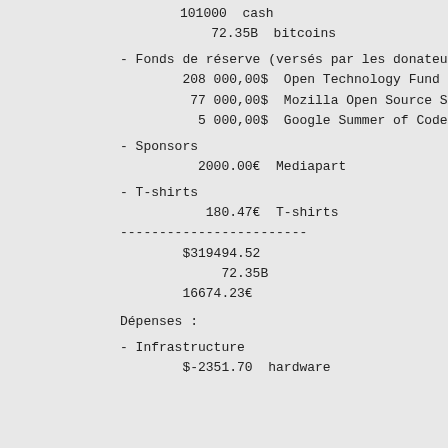101000  cash
72.35B  bitcoins
- Fonds de réserve (versés par les donateurs)
208 000,00$  Open Technology Fund
77 000,00$   Mozilla Open Source Support
5 000,00$    Google Summer of Code
- Sponsors
2000.00€  Mediapart
- T-shirts
180.47€  T-shirts
------------------------
$319494.52
72.35B
16674.23€
Dépenses :
- Infrastructure
$-2351.70  hardware